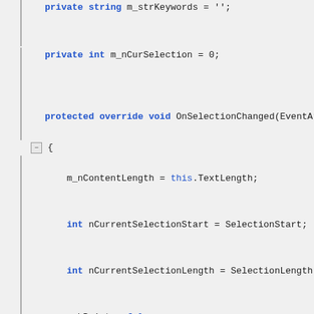[Figure (screenshot): Code editor screenshot showing C# source code with syntax highlighting. Lines include: private string m_strKeywords = ''; private int m_nCurSelection = 0; protected override void OnSelectionChanged(EventArgs e) { m_nContentLength = this.TextLength; int nCurrentSelectionStart = SelectionStart; int nCurrentSelectionLength = SelectionLength; m_bPaint = false; m_nLineStart = nCurrentSelectionStart; }]